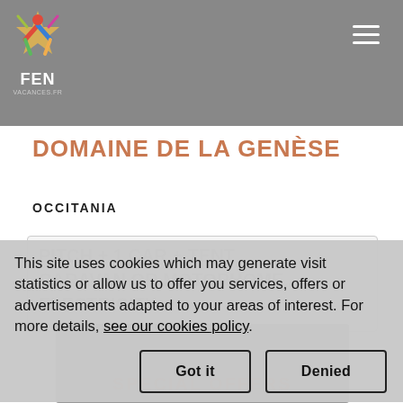FEN — site navigation header with logo and hamburger menu
DOMAINE DE LA GENÈSE
OCCITANIA
[Figure (screenshot): Camping pitch listing with faded large text: PITCH + 1 CAR + TENT, CARAVAN OR MOTORHOME, ELECTRICITY]
This site uses cookies which may generate visit statistics or allow us to offer you services, offers or advertisements adapted to your areas of interest. For more details, see our cookies policy.
[Figure (photo): Bottom strip image showing SPECIAL OFFERS text overlay]